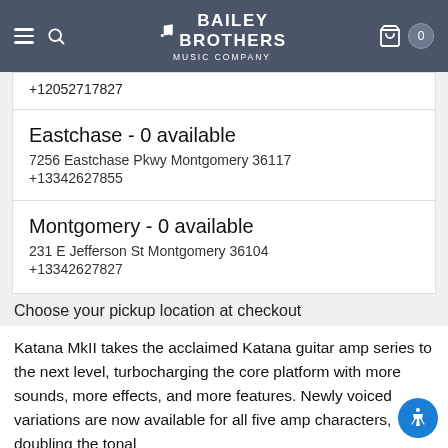Bailey Brothers Music Company — navigation header with hamburger menu, search, logo, cart (0)
+12052717827
Eastchase - 0 available
7256 Eastchase Pkwy Montgomery 36117
+13342627855
Montgomery - 0 available
231 E Jefferson St Montgomery 36104
+13342627827
Choose your pickup location at checkout
Katana MkII takes the acclaimed Katana guitar amp series to the next level, turbocharging the core platform with more sounds, more effects, and more features. Newly voiced variations are now available for all five amp characters, doubling the tonal